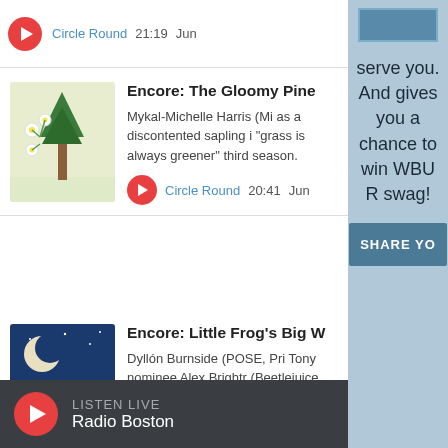Circle Round  21:19  Jun
[Figure (illustration): Illustration of pine tree with flowers for Encore: The Gloomy Pine episode]
Encore: The Gloomy Pine
Mykal-Michelle Harris (Mi as a discontented sapling i "grass is always greener" third season.
Circle Round  20:41  Jun
[Figure (illustration): Illustration of frog on lily pad under moonlit night sky for Encore: Little Frog's Big episode]
Encore: Little Frog's Big W
Dyllón Burnside (POSE, Pri Tony nominee Alex Brightr (Beetlejuice, School of Roc Musical) co-star in this Au from the archives about e
serve you. And gives you a chance to win WBUR swag!
SHARE YO
LISTEN LIVE
Radio Boston